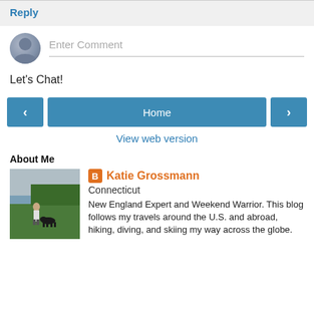Reply
Enter Comment
Let's Chat!
Home
View web version
About Me
[Figure (photo): Profile photo of Katie Grossmann standing outdoors near water with a black dog, green landscape, overcast sky]
Katie Grossmann
Connecticut
New England Expert and Weekend Warrior. This blog follows my travels around the U.S. and abroad, hiking, diving, and skiing my way across the globe.